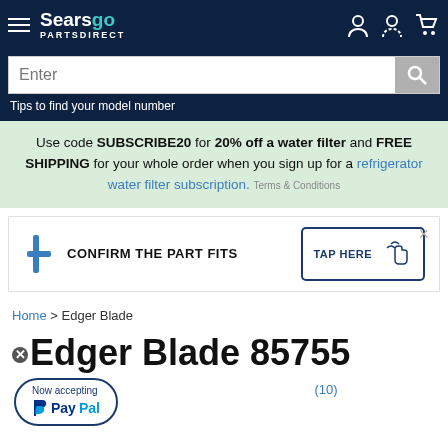Sears PartsDirect
Enter
Tips to find your model number
Use code SUBSCRIBE20 for 20% off a water filter and FREE SHIPPING for your whole order when you sign up for a refrigerator water filter subscription. Terms & Conditions
[Figure (infographic): Confirm the part fits banner with a tap here button and a hand cursor icon]
Home > Edger Blade
Edger Blade 85755
[Figure (infographic): Now accepting PayPal bubble badge]
(10)